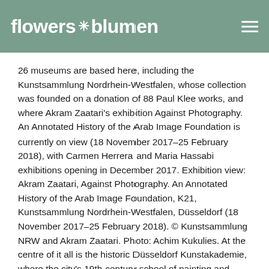flowers blumen
26 museums are based here, including the Kunstsammlung Nordrhein-Westfalen, whose collection was founded on a donation of 88 Paul Klee works, and where Akram Zaatari's exhibition Against Photography. An Annotated History of the Arab Image Foundation is currently on view (18 November 2017–25 February 2018), with Carmen Herrera and Maria Hassabi exhibitions opening in December 2017. Exhibition view: Akram Zaatari, Against Photography. An Annotated History of the Arab Image Foundation, K21, Kunstsammlung Nordrhein-Westfalen, Düsseldorf (18 November 2017–25 February 2018). © Kunstsammlung NRW and Akram Zaatari. Photo: Achim Kukulies. At the centre of it all is the historic Düsseldorf Kunstakademie, where the city's 19th-century school of painting and 20th-century school of photography were founded; where Nam June Paik and Joseph Beuys taught; and next to which the famous Creamcheese Club hosted some of Kraftwerk's first gigs. (On this history, Electri_City, The Düsseldorf School of Electronic Music, by Die Krupps bass player Rudi Esch, has recently been translated into English with Omnibus Press.) Celebrating their 50th anniversary at Grabbeplatz is an expansive exhibition at Kunsthalle Düsseldorf, Academy [Working Title], which